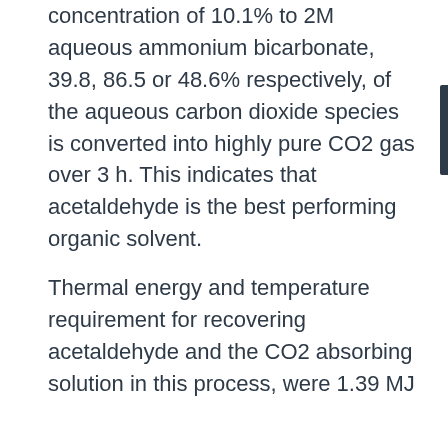concentration of 10.1% to 2M aqueous ammonium bicarbonate, 39.8, 86.5 or 48.6% respectively, of the aqueous carbon dioxide species is converted into highly pure CO2 gas over 3 h. This indicates that acetaldehyde is the best performing organic solvent.
Thermal energy and temperature requirement for recovering acetaldehyde and the CO2 absorbing solution in this process, were 1.39 MJ